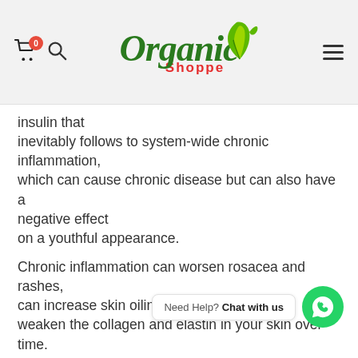[Figure (logo): Organic Shoppe logo with green leaf and stylized italic text, cart icon with badge showing 0, search icon, and hamburger menu]
insulin that inevitably follows to system-wide chronic inflammation, which can cause chronic disease but can also have a negative effect on a youthful appearance.

Chronic inflammation can worsen rosacea and rashes, can increase skin oiliness, and may also weaken the collagen and elastin in your skin over time. It can impair the skin's natural moisture barrier, degrading skin quality and accelerating aging.